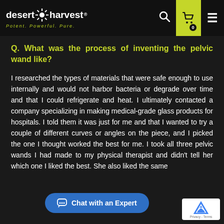desert harvest — Potent. Powerful. Pure.
Q. What was the process of inventing the pelvic wand like?
I researched the types of materials that were safe enough to use internally and would not harbor bacteria or degrade over time and that I could refrigerate and heat. I ultimately contacted a company specializing in making medical-grade glass products for hospitals. I told them it was just for me and that I wanted to try a couple of different curves or angles on the piece, and I picked the one I thought worked the best for me. I took all three pelvic wands I had made to my physical therapist and didn't tell her which one I liked the best. She also liked the same